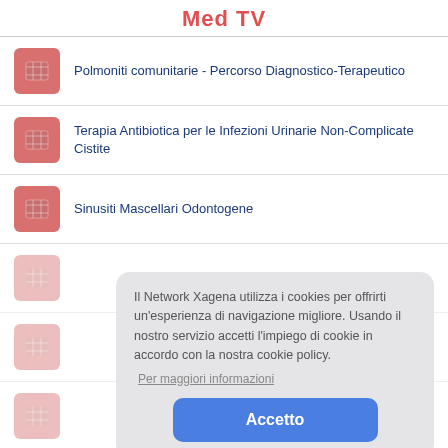Med TV
Polmoniti comunitarie - Percorso Diagnostico-Terapeutico
Terapia Antibiotica per le Infezioni Urinarie Non-Complicate Cistite
Sinusiti Mascellari Odontogene
Il Network Xagena utilizza i cookies per offrirti un'esperienza di navigazione migliore. Usando il nostro servizio accetti l'impiego di cookie in accordo con la nostra cookie policy.
Per maggiori informazioni
Accetto